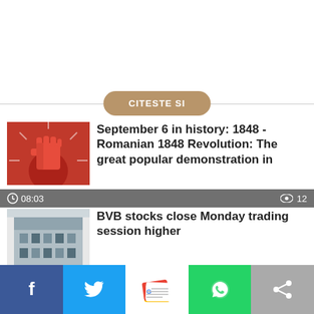CITESTE SI
September 6 in history: 1848 - Romanian 1848 Revolution: The great popular demonstration in
08:03  12
BVB stocks close Monday trading session higher
05/09/2022  18